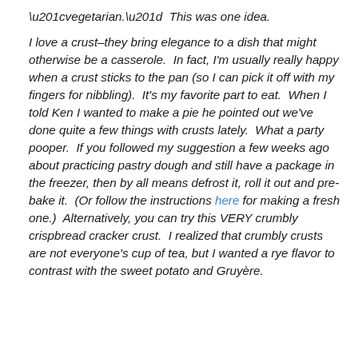“vegetarian.”  This was one idea.

I love a crust–they bring elegance to a dish that might otherwise be a casserole.  In fact, I’m usually really happy when a crust sticks to the pan (so I can pick it off with my fingers for nibbling).  It’s my favorite part to eat.  When I told Ken I wanted to make a pie he pointed out we’ve done quite a few things with crusts lately.  What a party pooper.  If you followed my suggestion a few weeks ago about practicing pastry dough and still have a package in the freezer, then by all means defrost it, roll it out and pre-bake it.  (Or follow the instructions here for making a fresh one.)  Alternatively, you can try this VERY crumbly crispbread cracker crust.  I realized that crumbly crusts are not everyone’s cup of tea, but I wanted a rye flavor to contrast with the sweet potato and Gruyère.